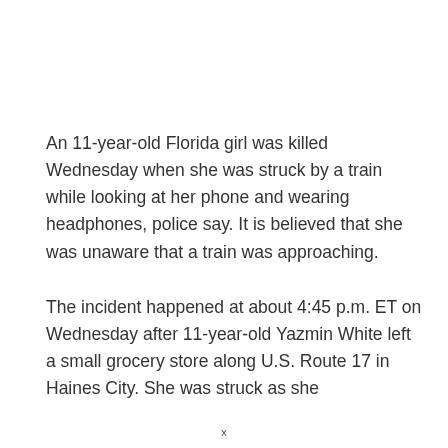An 11-year-old Florida girl was killed Wednesday when she was struck by a train while looking at her phone and wearing headphones, police say. It is believed that she was unaware that a train was approaching.
The incident happened at about 4:45 p.m. ET on Wednesday after 11-year-old Yazmin White left a small grocery store along U.S. Route 17 in Haines City. She was struck as she
x